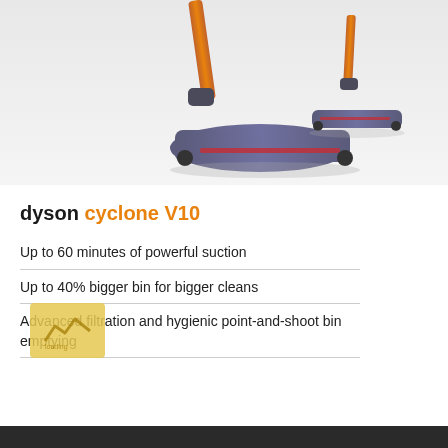[Figure (photo): Dyson Cyclone V10 cordless vacuum cleaner product photo showing two vacuum cleaner heads with orange/copper wand and purple/grey roller brush heads on white/grey gradient background]
dyson cyclone V10
Up to 60 minutes of powerful suction
Up to 40% bigger bin for bigger cleans
Advanced filtration and hygienic point-and-shoot bin emptying